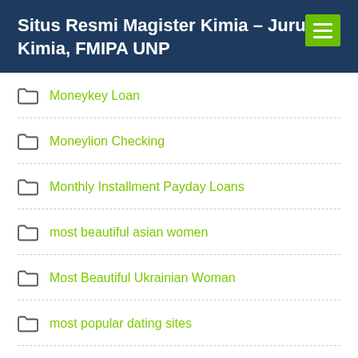Situs Resmi Magister Kimia – Jurusan Kimia, FMIPA UNP
Moneykey Loan
Moneylion Checking
Monthly Installment Payday Loans
most beautiful asian women
Most Beautiful Ukrainian Woman
most popular dating sites
Muscle Cam